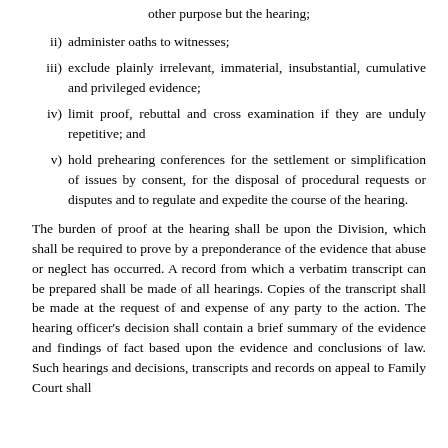other purpose but the hearing;
ii) administer oaths to witnesses;
iii) exclude plainly irrelevant, immaterial, insubstantial, cumulative and privileged evidence;
iv) limit proof, rebuttal and cross examination if they are unduly repetitive; and
v) hold prehearing conferences for the settlement or simplification of issues by consent, for the disposal of procedural requests or disputes and to regulate and expedite the course of the hearing.
The burden of proof at the hearing shall be upon the Division, which shall be required to prove by a preponderance of the evidence that abuse or neglect has occurred. A record from which a verbatim transcript can be prepared shall be made of all hearings. Copies of the transcript shall be made at the request of and expense of any party to the action. The hearing officer's decision shall contain a brief summary of the evidence and findings of fact based upon the evidence and conclusions of law. Such hearings and decisions, transcripts and records on appeal to Family Court shall